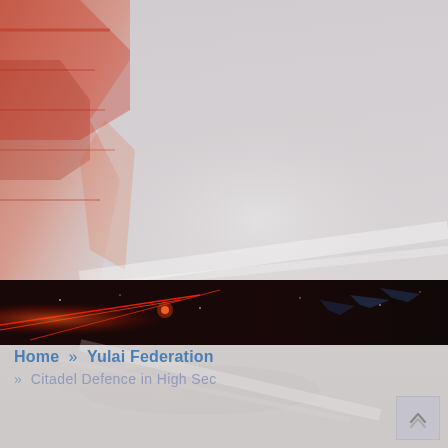[Figure (illustration): A science-fiction themed background image showing a large mechanical/ship structure on the left side in warm red/orange tones blending into a pale grey/white haze across the majority of the scene. A dark horizontal band across the middle shows space combat with red laser beams and spaceship silhouettes against black space. The lower portion continues the pale grey-white misty background with faint ship shapes.]
Home  »  Yulai Federation
»  Citadel Defence in High Sec